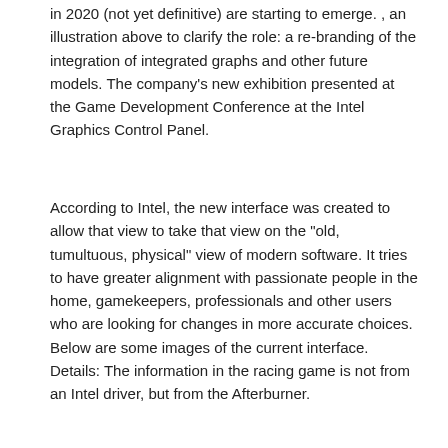in 2020 (not yet definitive) are starting to emerge. , an illustration above to clarify the role: a re-branding of the integration of integrated graphs and other future models. The company's new exhibition presented at the Game Development Conference at the Intel Graphics Control Panel.
According to Intel, the new interface was created to allow that view to take that view on the "old, tumultuous, physical" view of modern software. It tries to have greater alignment with passionate people in the home, gamekeepers, professionals and other users who are looking for changes in more accurate choices. Below are some images of the current interface. Details: The information in the racing game is not from an Intel driver, but from the Afterburner.